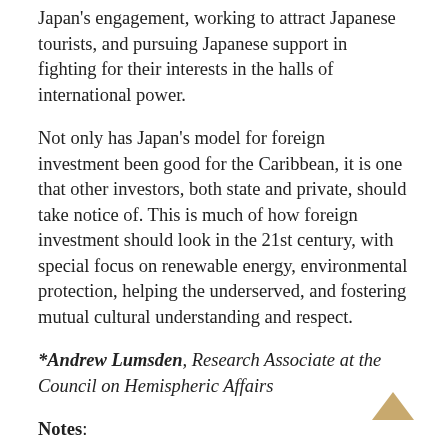Japan's engagement, working to attract Japanese tourists, and pursuing Japanese support in fighting for their interests in the halls of international power.
Not only has Japan's model for foreign investment been good for the Caribbean, it is one that other investors, both state and private, should take notice of. This is much of how foreign investment should look in the 21st century, with special focus on renewable energy, environmental protection, helping the underserved, and fostering mutual cultural understanding and respect.
*Andrew Lumsden, Research Associate at the Council on Hemispheric Affairs
Notes:
[i]"Press Release: Japan– Caribbean Community